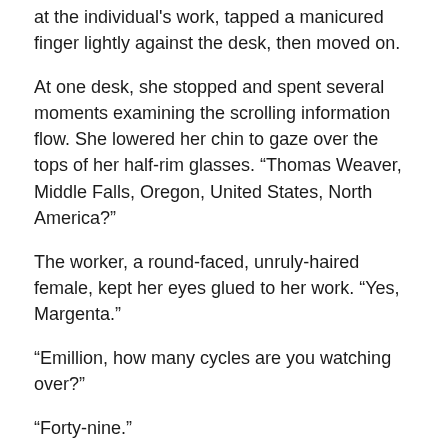at the individual's work, tapped a manicured finger lightly against the desk, then moved on.
At one desk, she stopped and spent several moments examining the scrolling information flow. She lowered her chin to gaze over the tops of her half-rim glasses. “Thomas Weaver, Middle Falls, Oregon, United States, North America?”
The worker, a round-faced, unruly-haired female, kept her eyes glued to her work. “Yes, Margenta.”
“Emillion, how many cycles are you watching over?”
“Forty-nine.”
“And how many souls?”
“Three hundred forty-three, of course.”
The tall woman nodded, as if that were the expected answer. “It is policy, is it not, to give equal attention to all clients?”
“It is.”